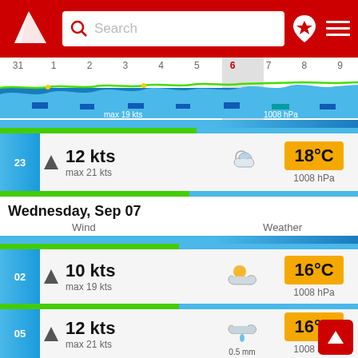[Figure (screenshot): Red navigation header with logo, search box, location pin and menu icons]
[Figure (infographic): Calendar date strip showing dates 31,1,2,3,4,5,6,7,8,9 with wave chart below showing wind/pressure data. max 19 kts, 1008 hPa]
23  12 kts  max 21 kts  18°C  1008 hPa
Wednesday, Sep 07
Wind   Weather
02  10 kts  max 19 kts  16°C  1008 hPa
05  12 kts  max 21 kts  0.5 mm  16°C  1008 hPa
08  12 kts  16°C